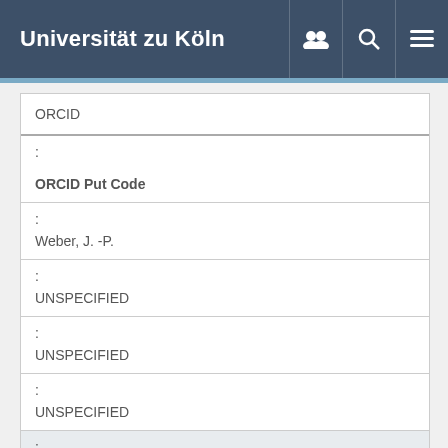Universität zu Köln
| ORCID |  |
| : |  |
| ORCID Put Code |  |
| : | Weber, J. -P. |
| : | UNSPECIFIED |
| : | UNSPECIFIED |
| : | UNSPECIFIED |
| : | Fischer, R. N. |
| : | UNSPECIFIED |